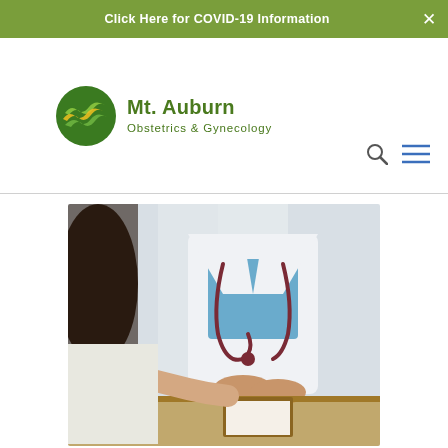Click Here for COVID-19 Information
[Figure (logo): Mt. Auburn Obstetrics & Gynecology logo with circular green leaf emblem]
[Figure (photo): Doctor in white coat with stethoscope holding patient's hand across a desk, consultation setting]